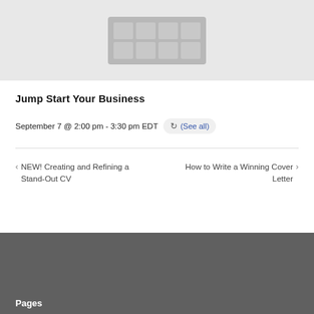[Figure (illustration): Gray placeholder image area with a grid/table icon in the center, representing a course or event image thumbnail]
Jump Start Your Business
September 7 @ 2:00 pm - 3:30 pm EDT (See all)
< NEW! Creating and Refining a Stand-Out CV
How to Write a Winning Cover Letter >
Pages